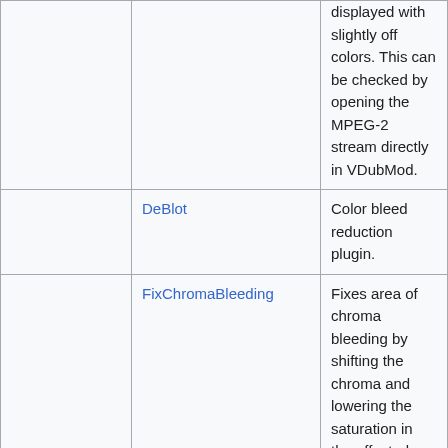|  | Plugin | Description |
| --- | --- | --- |
|  |  | displayed with slightly off colors. This can be checked by opening the MPEG-2 stream directly in VDubMod. |
|  | DeBlot | Color bleed reduction plugin. |
|  | FixChromaBleeding | Fixes area of chroma bleeding by shifting the chroma and lowering the saturation in the affected areas. See discussion |
|  | FixChromaBleedingMod | Fixes area of chroma bleeding by shifting the chroma and lowering the saturation in the affected areas. See discussion |
|  |  | FixChromaticAberration resizes (and crops) the red/green/blue channels of the image |